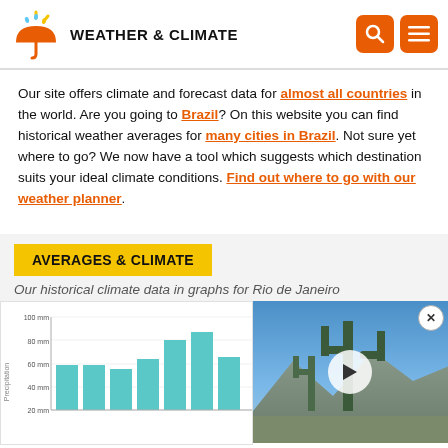WEATHER & CLIMATE
Our site offers climate and forecast data for almost all countries in the world. Are you going to Brazil? On this website you can find historical weather averages for many cities in Brazil. Not sure yet where to go? We now have a tool which suggests which destination suits your ideal climate conditions. Find out where to go with our weather planner.
AVERAGES & CLIMATE
Our historical climate data in graphs for Rio de Janeiro
[Figure (bar-chart): Precipitation bar chart partially visible, showing monthly rainfall in mm with teal bars. Y-axis labels visible: 100 mm, 80 mm, 60 mm, 40 mm. Partially cut off.]
[Figure (photo): Photo of tall cactus plants against blue sky with mountains in background. Video play button overlay.]